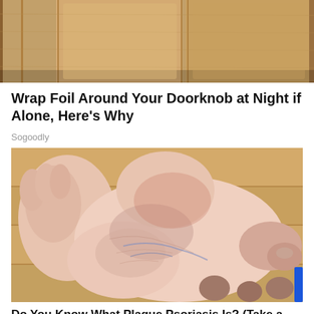[Figure (photo): Partial photo of wooden door/paneling visible at top of page, cropped]
Wrap Foil Around Your Doorknob at Night if Alone, Here's Why
Sogoodly
[Figure (photo): Close-up photo of a human foot and ankle being held, showing dry, scaly skin consistent with psoriasis, resting on a wooden floor]
Do You Know What Plaque Psoriasis Is? (Take a Look)
Privacy - Terms